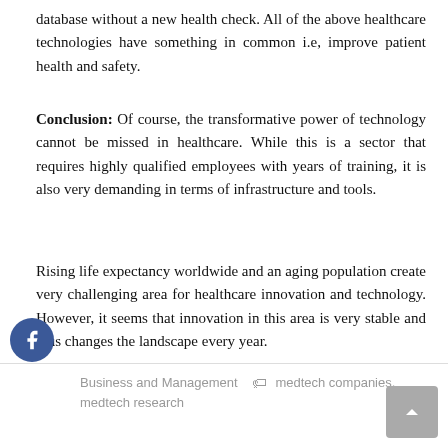database without a new health check. All of the above healthcare technologies have something in common i.e, improve patient health and safety.
Conclusion: Of course, the transformative power of technology cannot be missed in healthcare. While this is a sector that requires highly qualified employees with years of training, it is also very demanding in terms of infrastructure and tools.
Rising life expectancy worldwide and an aging population create very challenging area for healthcare innovation and technology. However, it seems that innovation in this area is very stable and thus changes the landscape every year.
[Figure (infographic): Social media share buttons: Facebook (blue circle with f), Google+ (red circle with g+), Twitter (blue circle with bird), and a teal circle with plus sign]
Business and Management   medtech companies, medtech research